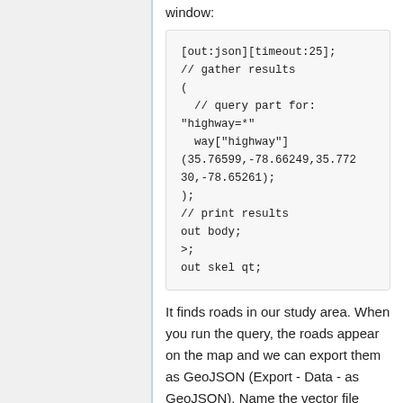window:
[out:json][timeout:25];
// gather results
(
  // query part for:
"highway=*"
  way["highway"]
(35.76599,-78.66249,35.772
30,-78.65261);
);
// print results
out body;
>;
out skel qt;
It finds roads in our study area. When you run the query, the roads appear on the map and we can export them as GeoJSON (Export - Data - as GeoJSON). Name the vector file roads.geojson.